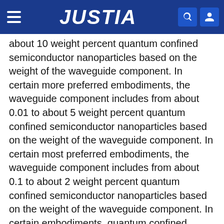JUSTIA
about 10 weight percent quantum confined semiconductor nanoparticles based on the weight of the waveguide component. In certain more preferred embodiments, the waveguide component includes from about 0.01 to about 5 weight percent quantum confined semiconductor nanoparticles based on the weight of the waveguide component. In certain most preferred embodiments, the waveguide component includes from about 0.1 to about 2 weight percent quantum confined semiconductor nanoparticles based on the weight of the waveguide component. In certain embodiments, quantum confined semiconductor nanoparticles can be distributed within the waveguide component.
In certain embodiments, quantum confined semiconductor nanocrystals can be distributed in a predetermined region of the waveguide component. In certain embodiments, the distribution of quantum